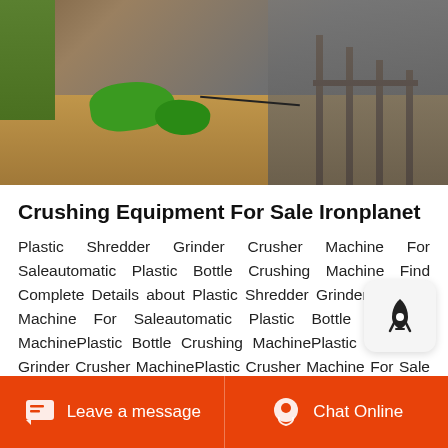[Figure (photo): Construction or mining site with dirt mounds, green tarps or bushes, and metal poles/scaffolding in the background]
Crushing Equipment For Sale Ironplanet
Plastic Shredder Grinder Crusher Machine For Saleautomatic Plastic Bottle Crushing Machine Find Complete Details about Plastic Shredder Grinder Crusher Machine For Saleautomatic Plastic Bottle Crushing MachinePlastic Bottle Crushing MachinePlastic Shredder Grinder Crusher MachinePlastic Crusher Machine For Sale from Plastic
Get Price
Leave a message
Chat Online